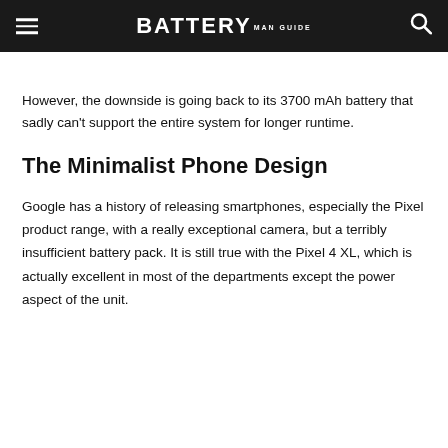BATTERY MAN GUIDE
However, the downside is going back to its 3700 mAh battery that sadly can't support the entire system for longer runtime.
The Minimalist Phone Design
Google has a history of releasing smartphones, especially the Pixel product range, with a really exceptional camera, but a terribly insufficient battery pack. It is still true with the Pixel 4 XL, which is actually excellent in most of the departments except the power aspect of the unit.